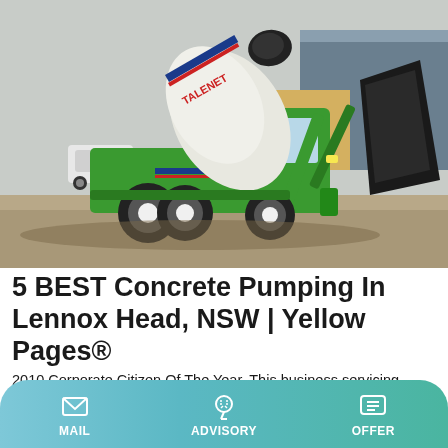[Figure (photo): A green self-loading concrete mixer truck with a black loading bucket raised, on a gravel construction site. The truck has 'TALENET' branding and blue/red stripes. A white SUV and industrial buildings are visible in the background.]
5 BEST Concrete Pumping In Lennox Head, NSW | Yellow Pages®
2010 Corporate Citizen Of The Year. This business servicing Lennox Head is a local SME in the Concrete Pumping category. When it comes to concrete pumping in the areas of Lismore, Casino, Ballina, Byron Bay, Ballina Concrete
MAIL   ADVISORY   OFFER